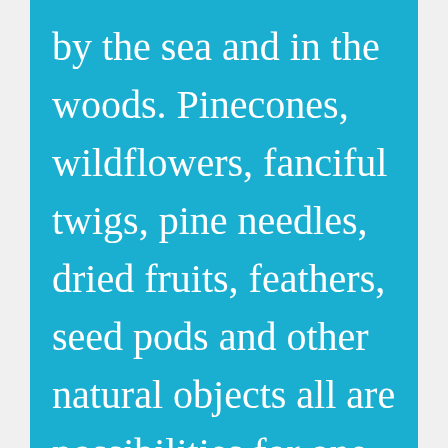by the sea and in the woods. Pinecones, wildflowers, fanciful twigs, pine needles, dried fruits, feathers, seed pods and other natural objects all are possibilities for one-